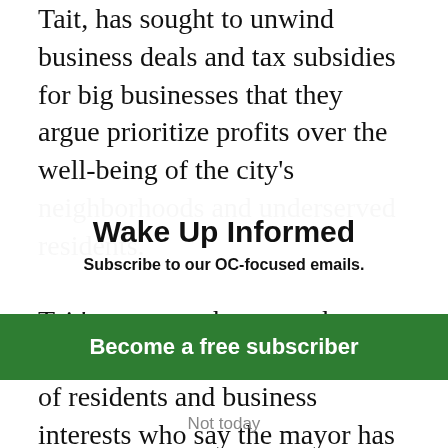Tait, has sought to unwind business deals and tax subsidies for big businesses that they argue prioritize profits over the well-being of the city's neighborhoods and underserved residents.

Tait's message, however, has aroused the anger and frustration of residents and business interests who say the mayor has eroded crucial business partnerships that have been the backbone of the city's economy. It's thanks to Disneyland and the
Wake Up Informed
Subscribe to our OC-focused emails.
Become a free subscriber
Not today